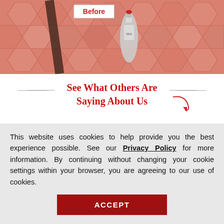[Figure (photo): Before and after photo showing a surface treatment product on terracotta/honeycomb tile, with a 'Before' label in the top left of the image area.]
See What Others Are Saying About Us
[Figure (illustration): Five gold/yellow star rating icons indicating a 5-star review.]
Gail M - CT, CT
March 04, 2022
We had a wonderful ex... Sir
[Figure (screenshot): Request a Free popup button in dark red with a close (X) button]
This website uses cookies to help provide you the best experience possible. See our Privacy Policy for more information. By continuing without changing your cookie settings within your browser, you are agreeing to our use of cookies.
ACCEPT